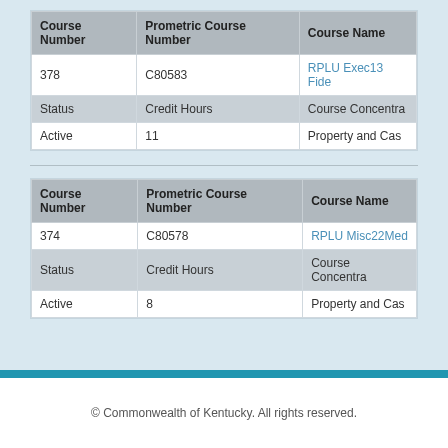| Course Number | Prometric Course Number | Course Name |
| --- | --- | --- |
| 378 | C80583 | RPLU Exec13 Fide... |
| Status | Credit Hours | Course Concentra... |
| Active | 11 | Property and Cas... |
| Course Number | Prometric Course Number | Course Name |
| --- | --- | --- |
| 374 | C80578 | RPLU Misc22Med... |
| Status | Credit Hours | Course Concentra... |
| Active | 8 | Property and Cas... |
© Commonwealth of Kentucky. All rights reserved.